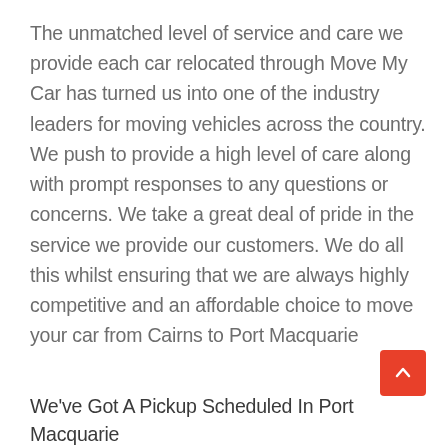The unmatched level of service and care we provide each car relocated through Move My Car has turned us into one of the industry leaders for moving vehicles across the country. We push to provide a high level of care along with prompt responses to any questions or concerns. We take a great deal of pride in the service we provide our customers. We do all this whilst ensuring that we are always highly competitive and an affordable choice to move your car from Cairns to Port Macquarie
We've Got A Pickup Scheduled In Port Macquarie